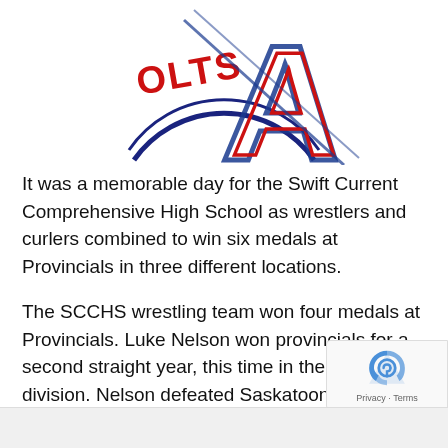[Figure (logo): Partial school logo showing 'COLTS' text in red with a large stylized letter A in blue and red outline]
It was a memorable day for the Swift Current Comprehensive High School as wrestlers and curlers combined to win six medals at Provincials in three different locations.
The SCCHS wrestling team won four medals at Provincials. Luke Nelson won provincials for a second straight year, this time in the male 77kg division. Nelson defeated Saskatoon's William Yanko in the championship match at Mount Royal Collegiate